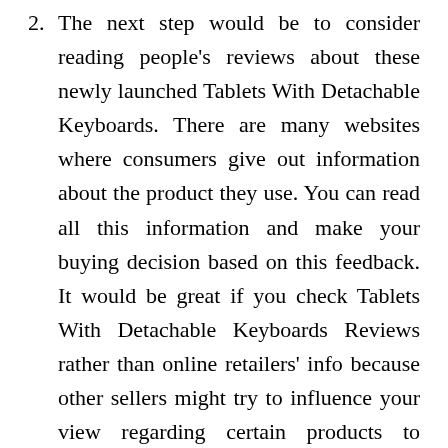2. The next step would be to consider reading people's reviews about these newly launched Tablets With Detachable Keyboards. There are many websites where consumers give out information about the product they use. You can read all this information and make your buying decision based on this feedback. It would be great if you check Tablets With Detachable Keyboards Reviews rather than online retailers' info because other sellers might try to influence your view regarding certain products to maximize sales towards themselves only.
3. Furthermore, it would be a good idea to check out the website where you can get coupons or discounts. A percentage of this discount will surely come in use as you purchase the Best Tablets With Detachable